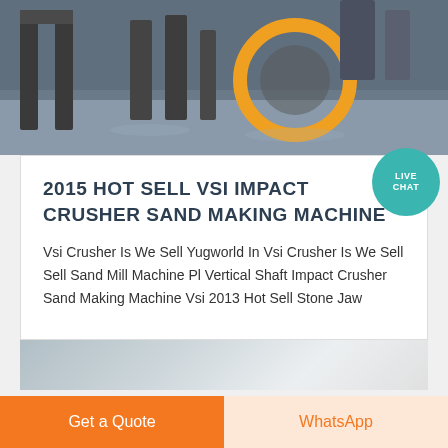[Figure (photo): Industrial machinery/crusher equipment in a factory setting, showing metal frames and yellow circular component]
2015 HOT SELL VSI IMPACT CRUSHER SAND MAKING MACHINE
Vsi Crusher Is We Sell Yugworld In Vsi Crusher Is We Sell Sell Sand Mill Machine Pl Vertical Shaft Impact Crusher Sand Making Machine Vsi 2013 Hot Sell Stone Jaw
[Figure (photo): Partial product image visible at bottom of page]
Get a Quote
WhatsApp